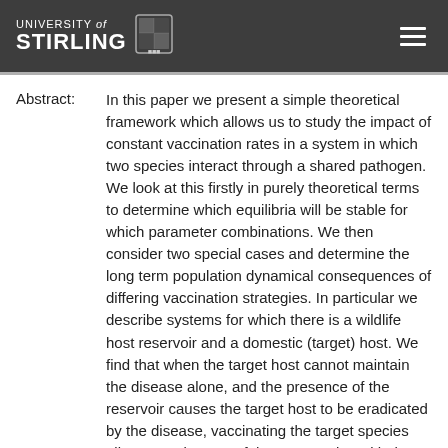University of Stirling
Abstract: In this paper we present a simple theoretical framework which allows us to study the impact of constant vaccination rates in a system in which two species interact through a shared pathogen. We look at this firstly in purely theoretical terms to determine which equilibria will be stable for which parameter combinations. We then consider two special cases and determine the long term population dynamical consequences of differing vaccination strategies. In particular we describe systems for which there is a wildlife host reservoir and a domestic (target) host. We find that when the target host cannot maintain the disease alone, and the presence of the reservoir causes the target host to be eradicated by the disease, vaccinating the target species allows coexistence of the two species with the pathogen, but will not allow disease eradication. It is then shown that this result holds both when vaccination occurs at a fixed rate and when a proportion of the population